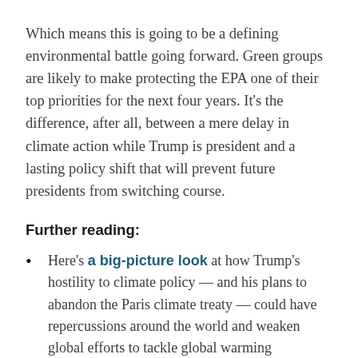Which means this is going to be a defining environmental battle going forward. Green groups are likely to make protecting the EPA one of their top priorities for the next four years. It's the difference, after all, between a mere delay in climate action while Trump is president and a lasting policy shift that will prevent future presidents from switching course.
Further reading:
Here's a big-picture look at how Trump's hostility to climate policy — and his plans to abandon the Paris climate treaty — could have repercussions around the world and weaken global efforts to tackle global warming
How Obama's Clean Power Plan actually works —